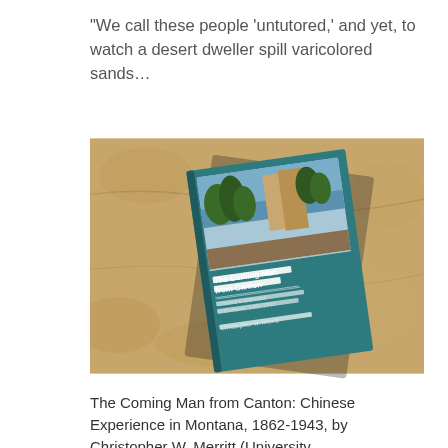“We call these people ‘untutored,’ and yet, to watch a desert dweller spill varicolored sands…
[Figure (photo): Photograph of a book titled 'The Coming Man from Canton: Chinese Experience in Montana, 1862-1943' by Christopher W. Merritt, shown angled on a tan/brown textured sandy background. The book cover is teal/dark cyan with a landscape photo on the upper portion showing trees, a cliff, and water.]
The Coming Man from Canton: Chinese Experience in Montana, 1862-1943, by Christopher W. Merritt (University…